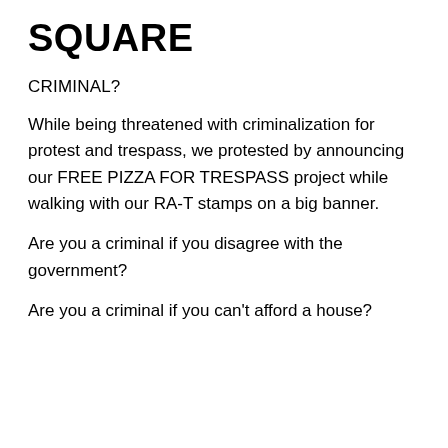SQUARE
CRIMINAL?
While being threatened with criminalization for protest and trespass, we protested by announcing our FREE PIZZA FOR TRESPASS project while walking with our RA-T stamps on a big banner.
Are you a criminal if you disagree with the government?
Are you a criminal if you can’t afford a house?